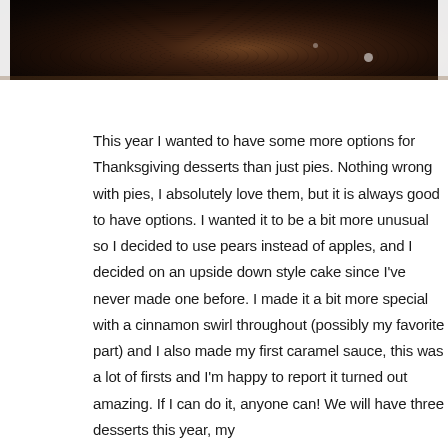[Figure (photo): Close-up dark photo of what appears to be an upside-down pear cake with caramel, viewed from above in a dark pan, showing glistening caramelized surface with small white highlights]
This year I wanted to have some more options for Thanksgiving desserts than just pies. Nothing wrong with pies, I absolutely love them, but it is always good to have options. I wanted it to be a bit more unusual so I decided to use pears instead of apples, and I decided on an upside down style cake since I've never made one before. I made it a bit more special with a cinnamon swirl throughout (possibly my favorite part) and I also made my first caramel sauce, this was a lot of firsts and I'm happy to report it turned out amazing. If I can do it, anyone can! We will have three desserts this year, my